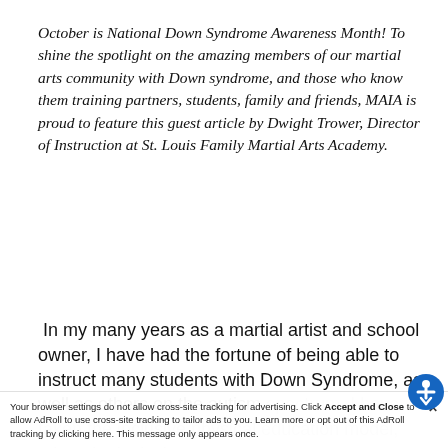October is National Down Syndrome Awareness Month! To shine the spotlight on the amazing members of our martial arts community with Down syndrome, and those who know them training partners, students, family and friends, MAIA is proud to feature this guest article by Dwight Trower, Director of Instruction at St. Louis Family Martial Arts Academy.
In my many years as a martial artist and school owner, I have had the fortune of being able to instruct many students with Down Syndrome, as well as others on the autism spectrum. I have taken the inclusive physical education model, taken the inclusive
Your browser settings do not allow cross-site tracking for advertising. Click Accept and Close to allow AdRoll to use cross-site tracking to tailor ads to you. Learn more or opt out of this AdRoll tracking by clicking here. This message only appears once.